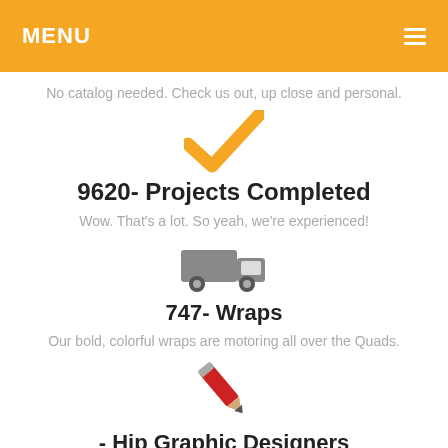MENU
No catalog needed. Check us out, up close and personal.
[Figure (illustration): Orange checkmark icon]
9620- Projects Completed
Wow. That's a lot. So yeah, we're experienced!
[Figure (illustration): Gray delivery truck icon]
747- Wraps
Our bold, colorful wraps are motoring all over the Quads.
[Figure (illustration): Red pencil icon]
- Hip Graphic Designers
Everyone has CAD. We also have finesse.